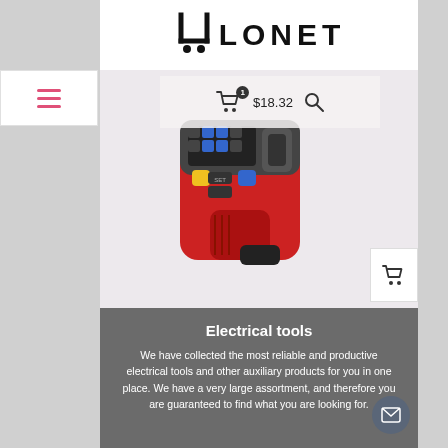[Figure (logo): Ulonet logo with shopping cart icon and bold sans-serif text]
[Figure (screenshot): Navigation bar with hamburger menu (pink/red lines), shopping cart icon with badge showing 1 and price $18.32, and search icon]
[Figure (photo): Red handheld thermal imaging camera/infrared thermometer with buttons and display, on a light background]
Electrical tools
We have collected the most reliable and productive electrical tools and other auxiliary products for you in one place. We have a very large assortment, and therefore you are guaranteed to find what you are looking for.